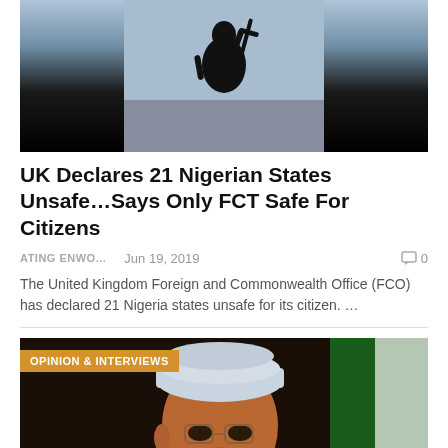[Figure (photo): Silhouette of a person holding what appears to be a weapon against a light sky background]
UK Declares 21 Nigerian States Unsafe…Says Only FCT Safe For Citizens
ATING ENWO...   Jun 19, 2019   0
The United Kingdom Foreign and Commonwealth Office (FCO) has declared 21 Nigeria states unsafe for its citizen. …
[Figure (photo): Portrait of a man wearing a light blue traditional Nigerian cap and glasses, with a Nigerian flag visible in the background. Category badge reads OPINION & INTERVIEWS]